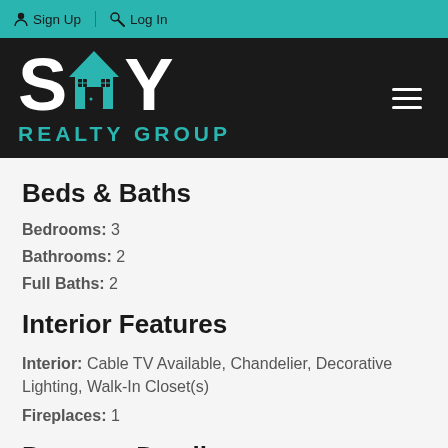Sign Up | Log In
[Figure (logo): SHY Realty Group logo with teal house icon, white bold lettering on black background]
Beds & Baths
Bedrooms: 3
Bathrooms: 2
Full Baths: 2
Interior Features
Interior: Cable TV Available, Chandelier, Decorative Lighting, Walk-In Closet(s)
Fireplaces: 1
Property Details